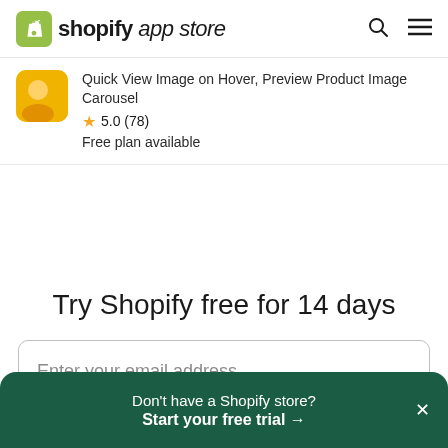shopify app store
Quick View Image on Hover, Preview Product Image Carousel
★ 5.0 (78)
Free plan available
Try Shopify free for 14 days
Enter your email address
Don't have a Shopify store? Start your free trial →